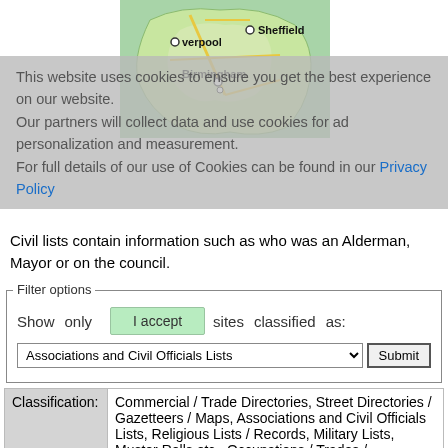[Figure (map): Map of England showing cities including Liverpool, Sheffield, Birmingham with location markers]
This website uses cookies to ensure you get the best experience on our website. Our partners will collect data and use cookies for ad personalization and measurement. For full details of our use of Cookies can be found in our Privacy Policy
Civil lists contain information such as who was an Alderman, Mayor or on the council.
Filter options
Show only sites classified as:
Associations and Civil Officials Lists [dropdown] Submit [button]
| Field | Value |
| --- | --- |
| Classification: | Commercial / Trade Directories, Street Directories / Gazetteers / Maps, Associations and Civil Officials Lists, Religious Lists / Records, Military Lists, Muster Rolls etc., Occupations / Trades / Apprentices |
| Title: | Calverley Information and Historical Data |